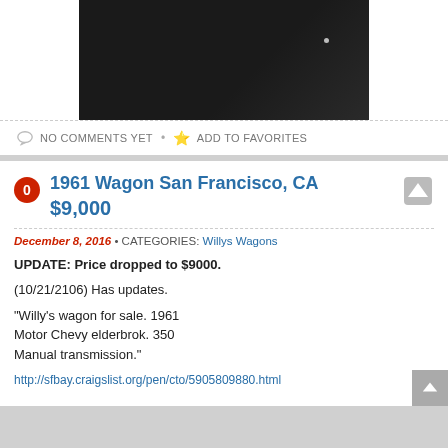[Figure (photo): Partial photo of a dark-colored vehicle, mostly black background with a small white light reflection visible on the right side.]
NO COMMENTS YET • ADD TO FAVORITES
1961 Wagon San Francisco, CA
$9,000
December 8, 2016 • CATEGORIES: Willys Wagons
UPDATE: Price dropped to $9000.

(10/21/2106) Has updates.

"Willy's wagon for sale. 1961
Motor Chevy elderbrok. 350
Manual transmission."

http://sfbay.craigslist.org/pen/cto/5905809880.html